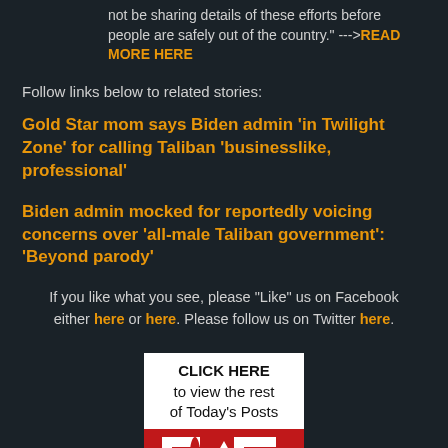not be sharing details of these efforts before people are safely out of the country." --->READ MORE HERE
Follow links below to related stories:
Gold Star mom says Biden admin ‘in Twilight Zone’ for calling Taliban ‘businesslike, professional’
Biden admin mocked for reportedly voicing concerns over 'all-male Taliban government': 'Beyond parody'
If you like what you see, please "Like" us on Facebook either here or here. Please follow us on Twitter here.
[Figure (logo): Red RS logo with white letters and a click-here banner reading CLICK HERE to view the rest of Today's Posts]